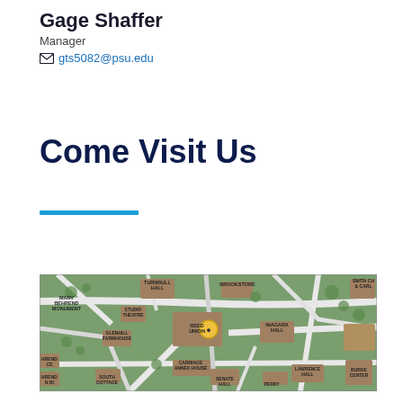Gage Shaffer
Manager
gts5082@psu.edu
Come Visit Us
[Figure (map): Campus map of Penn State Behrend showing buildings including Reed Union, Turnbull Hall, Studio Theatre, Glenhill Farmhouse, Mary Behrend Monument, Carriage Annex House, Niagara Hall, Lawrence Hall, Burke Center, South Cottage, Senate Hall, Brookstore, and others. A yellow pin marker is placed at Reed Union.]